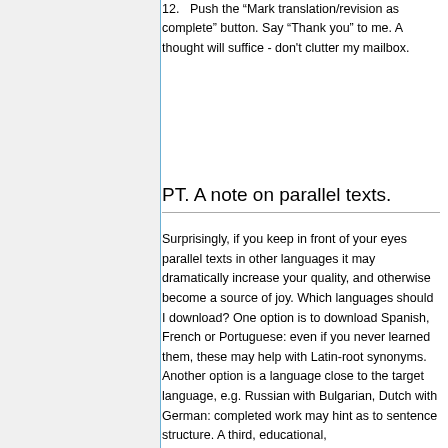12. Push the “Mark translation/revision as complete” button. Say “Thank you” to me. A thought will suffice - don't clutter my mailbox.
PT. A note on parallel texts.
Surprisingly, if you keep in front of your eyes parallel texts in other languages it may dramatically increase your quality, and otherwise become a source of joy. Which languages should I download? One option is to download Spanish, French or Portuguese: even if you never learned them, these may help with Latin-root synonyms. Another option is a language close to the target language, e.g. Russian with Bulgarian, Dutch with German: completed work may hint as to sentence structure. A third, educational,